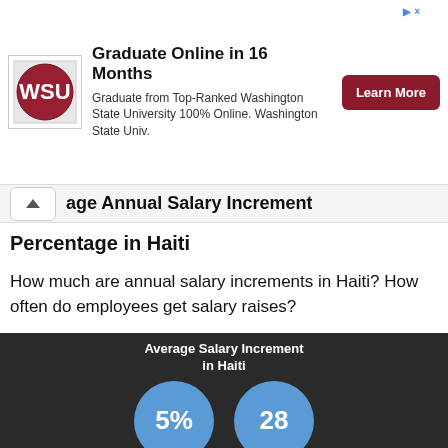[Figure (infographic): WSU advertisement banner: Graduate Online in 16 Months. Graduate from Top-Ranked Washington State University 100% Online. Washington State Univ. Learn More button.]
age Annual Salary Increment Percentage in Haiti
Percentage in Haiti
How much are annual salary increments in Haiti? How often do employees get salary raises?
Haiti
Employees in Haiti are likely to observe a salary increase of approximately 5% every 28 months.
[Figure (infographic): Average Salary Increment in Haiti infographic with dark background and two blue circles showing 5% and 28]